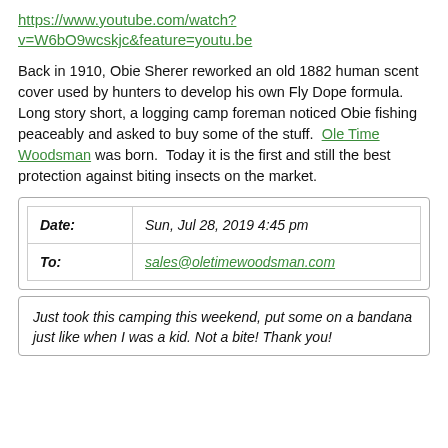https://www.youtube.com/watch?v=W6bO9wcskjc&feature=youtu.be
Back in 1910, Obie Sherer reworked an old 1882 human scent cover used by hunters to develop his own Fly Dope formula.  Long story short, a logging camp foreman noticed Obie fishing peaceably and asked to buy some of the stuff.  Ole Time Woodsman was born.  Today it is the first and still the best protection against biting insects on the market.
| Date: | Sun, Jul 28, 2019 4:45 pm |
| --- | --- |
| To: | sales@oletimewoodsman.com |
Just took this camping this weekend, put some on a bandana just like when I was a kid. Not a bite! Thank you!